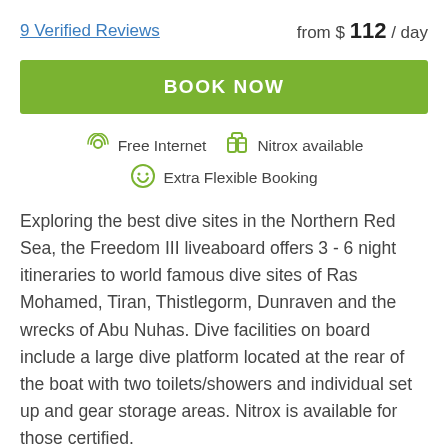9 Verified Reviews
from $ 112 / day
BOOK NOW
Free Internet   Nitrox available   Extra Flexible Booking
Exploring the best dive sites in the Northern Red Sea, the Freedom III liveaboard offers 3 - 6 night itineraries to world famous dive sites of Ras Mohamed, Tiran, Thistlegorm, Dunraven and the wrecks of Abu Nuhas. Dive facilities on board include a large dive platform located at the rear of the boat with two toilets/showers and individual set up and gear storage areas. Nitrox is available for those certified.